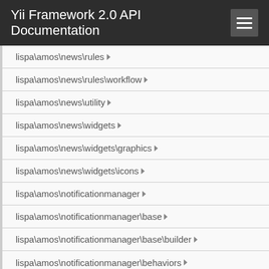Yii Framework 2.0 API Documentation
lispa\amos\news\rules
lispa\amos\news\rules\workflow
lispa\amos\news\utility
lispa\amos\news\widgets
lispa\amos\news\widgets\graphics
lispa\amos\news\widgets\icons
lispa\amos\notificationmanager
lispa\amos\notificationmanager\base
lispa\amos\notificationmanager\base\builder
lispa\amos\notificationmanager\behaviors